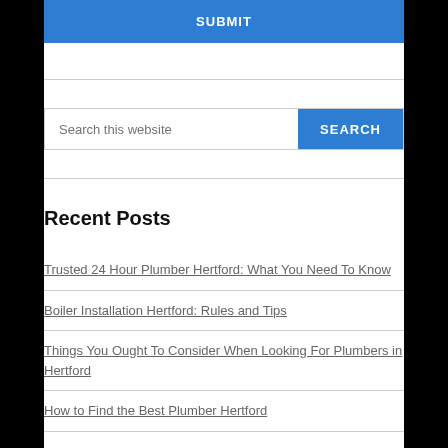SUBMIT
Search this website
SEARCH
Recent Posts
Trusted 24 Hour Plumber Hertford: What You Need To Know
Boiler Installation Hertford: Rules and Tips
Things You Ought To Consider When Looking For Plumbers in Hertford
How to Find the Best Plumber Hertford